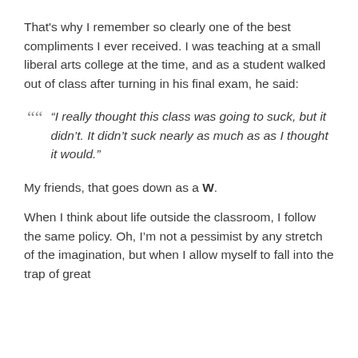That's why I remember so clearly one of the best compliments I ever received. I was teaching at a small liberal arts college at the time, and as a student walked out of class after turning in his final exam, he said:
“I really thought this class was going to suck, but it didn’t. It didn’t suck nearly as much as as I thought it would.”
My friends, that goes down as a W.
When I think about life outside the classroom, I follow the same policy. Oh, I’m not a pessimist by any stretch of the imagination, but when I allow myself to fall into the trap of great